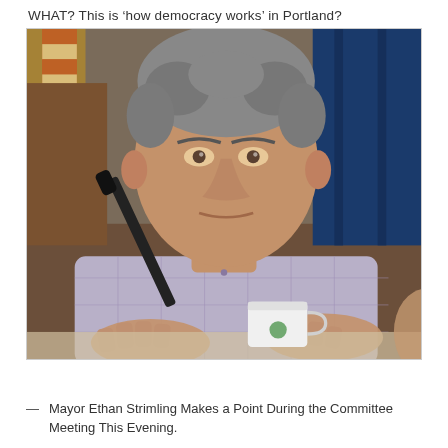WHAT? This is 'how democracy works' in Portland?
[Figure (photo): Mayor Ethan Strimling seated at a committee meeting table, gesturing with hands, wearing a plaid shirt. An American flag and blue drape visible in background. A white coffee cup is on the table in front of him. A microphone is visible to his left.]
— Mayor Ethan Strimling Makes a Point During the Committee Meeting This Evening.